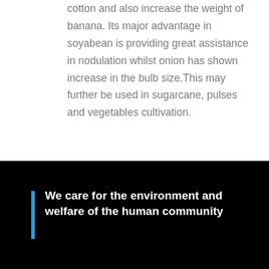sugarcane, restricting the drop of flower in cotton and also increase the weight of banana. Its major advantage in soyabean is providing great assistance in nodulation whilst onion has shown increase in the bulb size.This may further be used in sugarcane, pulses and vegetables cultivation.
We care for the environment and welfare of the human community